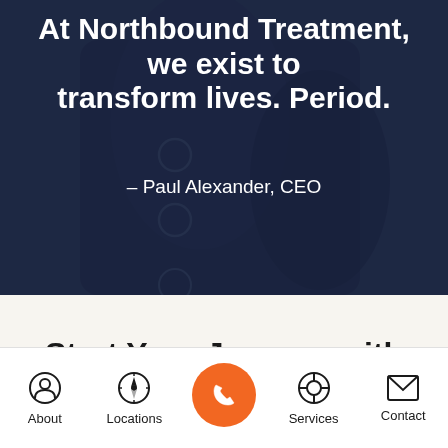At Northbound Treatment, we exist to transform lives. Period.
– Paul Alexander, CEO
Start Your Journey with
[Figure (screenshot): Mobile app bottom navigation bar with icons: About (person icon), Locations (compass icon), central orange call button (phone icon), Services (lifebuoy icon), Contact (envelope icon)]